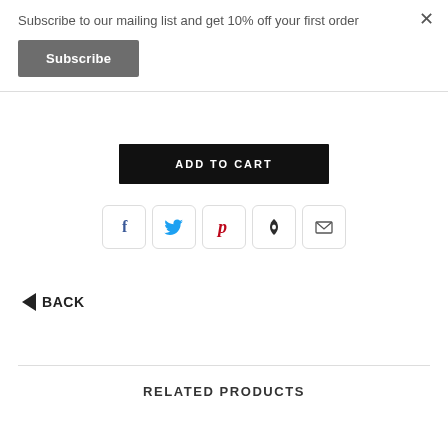Subscribe to our mailing list and get 10% off your first order
Subscribe
ADD TO CART
[Figure (other): Social sharing icons row: Facebook (blue f), Twitter (blue bird), Pinterest (red P), Fancy (dark droplet), Email (envelope)]
◄ BACK
RELATED PRODUCTS